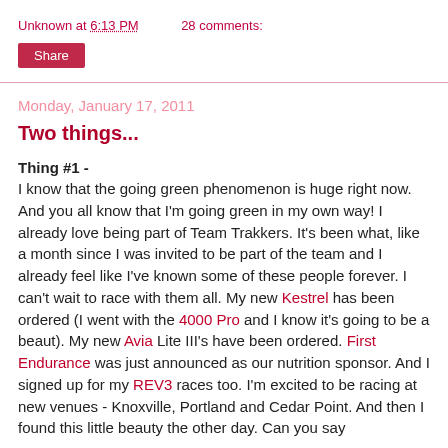Unknown at 6:13 PM    28 comments:
Share
Monday, January 17, 2011
Two things...
Thing #1 -
I know that the going green phenomenon is huge right now. And you all know that I'm going green in my own way! I already love being part of Team Trakkers. It's been what, like a month since I was invited to be part of the team and I already feel like I've known some of these people forever. I can't wait to race with them all. My new Kestrel has been ordered (I went with the 4000 Pro and I know it's going to be a beaut). My new Avia Lite III's have been ordered. First Endurance was just announced as our nutrition sponsor. And I signed up for my REV3 races too. I'm excited to be racing at new venues - Knoxville, Portland and Cedar Point. And then I found this little beauty the other day. Can you say